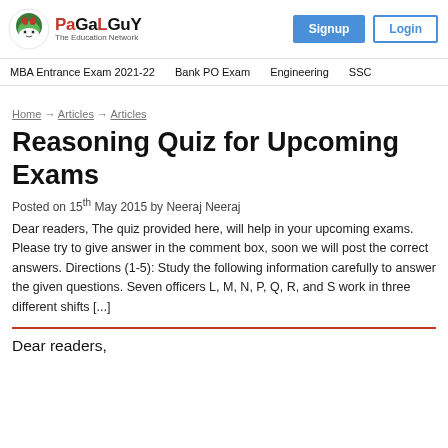PaGaLGuY - The Education Network | Signup | Login
MBA Entrance Exam 2021-22 | Bank PO Exam | Engineering | SSC
Home → Articles → Articles
Reasoning Quiz for Upcoming Exams
Posted on 15th May 2015 by Neeraj Neeraj
Dear readers, The quiz provided here, will help in your upcoming exams. Please try to give answer in the comment box, soon we will post the correct answers. Directions (1-5): Study the following information carefully to answer the given questions. Seven officers L, M, N, P, Q, R, and S work in three different shifts [...]
Dear readers,